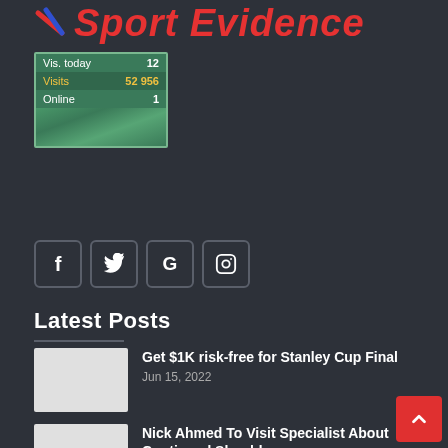Sport Evidence
[Figure (infographic): Stats widget showing Vis. today: 12, Visits: 52 956, Online: 1, with green wavy background]
[Figure (infographic): Social media icon buttons: Facebook (f), Twitter (bird), Google (G), Instagram (camera)]
Latest Posts
Get $1K risk-free for Stanley Cup Final
Jun 15, 2022
Nick Ahmed To Visit Specialist About Continued Shoulder